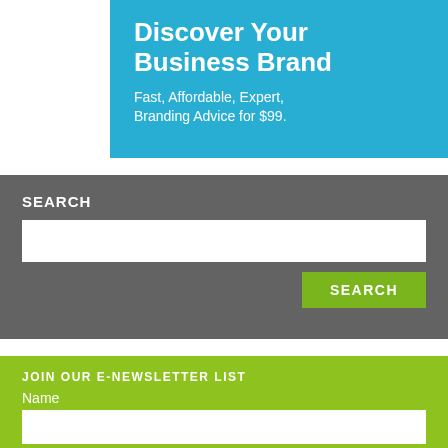[Figure (infographic): Blue banner with white bold text: 'Discover Your Business Brand' and subtitle 'Fast, Affordable, Expert, Branding Advice for $99.']
SEARCH
SEARCH (button)
JOIN OUR E-NEWSLETTER LIST
Name
Email